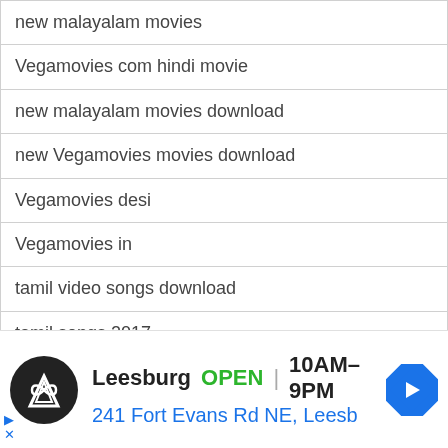new malayalam movies
Vegamovies com hindi movie
new malayalam movies download
new Vegamovies movies download
Vegamovies desi
Vegamovies in
tamil video songs download
tamil songs 2017
pagalworld movies
telugu mobile movies
download Vegamovies movies in hd
movies punjabi movie
Leesburg  OPEN | 10AM–9PM  241 Fort Evans Rd NE, Leesb